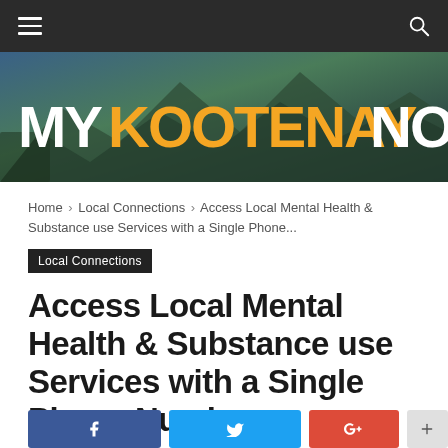MyKootenayNow navigation bar
[Figure (logo): MyKootenayNow website banner logo with mountain landscape background. 'MY' in white, 'KOOTENAY' in orange, 'NOW' in white, bold uppercase text.]
Home › Local Connections › Access Local Mental Health & Substance use Services with a Single Phone...
Local Connections
Access Local Mental Health & Substance use Services with a Single Phone Number